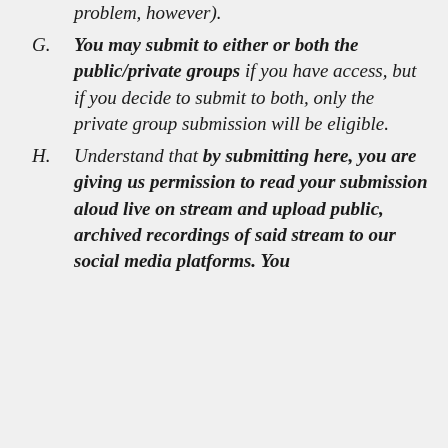problem, however).
G. You may submit to either or both the public/private groups if you have access, but if you decide to submit to both, only the private group submission will be eligible.
H. Understand that by submitting here, you are giving us permission to read your submission aloud live on stream and upload public, archived recordings of said stream to our social media platforms. You